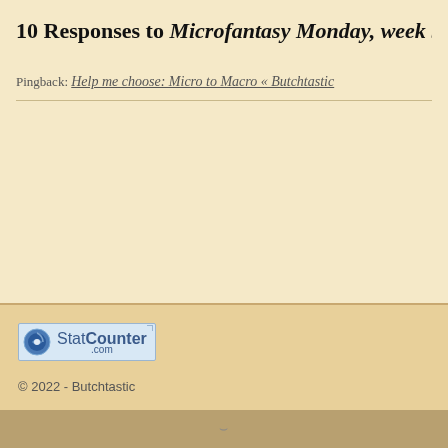10 Responses to Microfantasy Monday, week 5 :
Pingback: Help me choose: Micro to Macro « Butchtastic
[Figure (logo): StatCounter.com logo widget — a blue-toned badge with a circular icon on the left and the text 'StatCounter' with '.com' below it]
© 2022 - Butchtastic